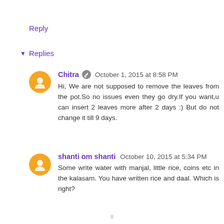Reply
▾ Replies
Chitra  October 1, 2015 at 8:58 PM
Hi, We are not supposed to remove the leaves from the pot.So no issues even they go dry.If you want,u can insert 2 leaves more after 2 days :) But do not change it till 9 days.
shanti om shanti  October 10, 2015 at 5:34 PM
Some write water with manjal, little rice, coins etc in the kalasam. You have written rice and daal. Which is right?